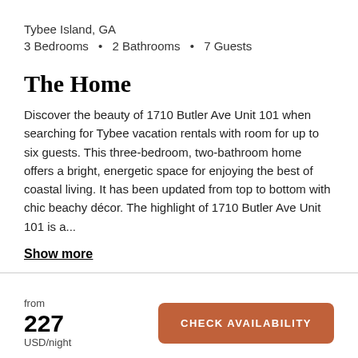Tybee Island, GA
3 Bedrooms • 2 Bathrooms • 7 Guests
The Home
Discover the beauty of 1710 Butler Ave Unit 101 when searching for Tybee vacation rentals with room for up to six guests. This three-bedroom, two-bathroom home offers a bright, energetic space for enjoying the best of coastal living. It has been updated from top to bottom with chic beachy décor. The highlight of 1710 Butler Ave Unit 101 is a...
Show more
from 227 USD/night
CHECK AVAILABILITY